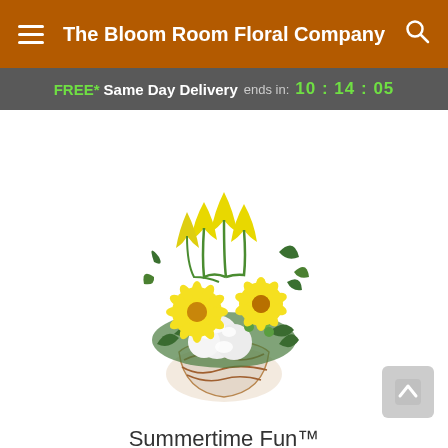The Bloom Room Floral Company
FREE* Same Day Delivery ends in: 10 : 14 : 05
[Figure (photo): A floral arrangement called Summertime Fun, featuring yellow tulips, yellow gerbera daisies, green hypericum berries, white carnations, and greenery arranged in a round glass vase with decorative wire accents.]
Summertime Fun™
Pick your perfect gift: